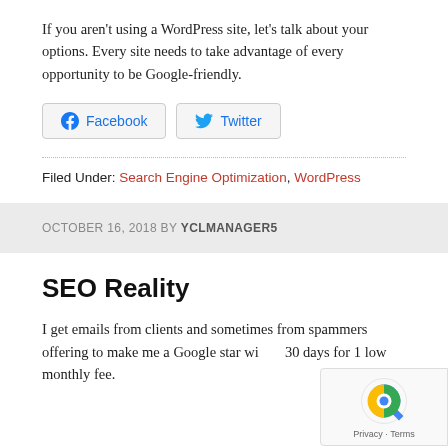If you aren't using a WordPress site, let's talk about your options. Every site needs to take advantage of every opportunity to be Google-friendly.
[Figure (other): Share buttons for Facebook and Twitter]
Filed Under: Search Engine Optimization, WordPress
OCTOBER 16, 2018 BY YCLMANAGER5
SEO Reality
I get emails from clients and sometimes from spammers offering to make me a Google star within 30 days for 1 low monthly fee.